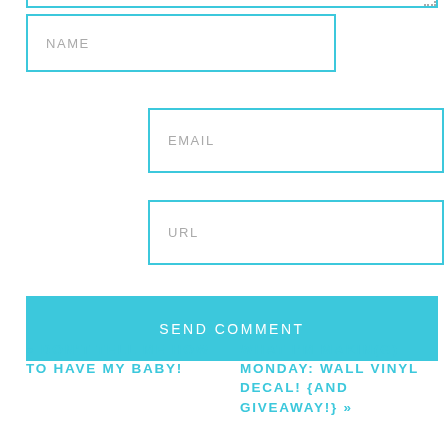[Figure (screenshot): Bottom portion of a web comment form with NAME, EMAIL, URL input fields and a SEND COMMENT button, followed by blog post navigation links]
NAME
EMAIL
URL
SEND COMMENT
« DON'T TELL ME HOW TO HAVE MY BABY!
WHAT I'M MAKIN(G) MONDAY: WALL VINYL DECAL! {AND GIVEAWAY!} »